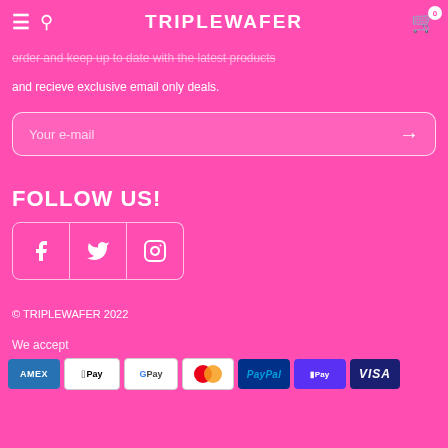TRIPLEWAFER
order and keep up to date with the latest products and recieve exclusive email only deals.
Your e-mail
FOLLOW US!
[Figure (other): Social media icon buttons: Facebook, Twitter, Instagram]
© TRIPLEWAFER 2022
We accept
[Figure (other): Payment method icons: AMEX, Apple Pay, Google Pay, Mastercard, PayPal, Shop Pay, Visa]